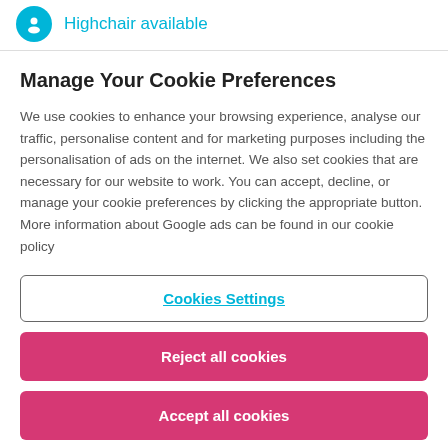Highchair available
Manage Your Cookie Preferences
We use cookies to enhance your browsing experience, analyse our traffic, personalise content and for marketing purposes including the personalisation of ads on the internet. We also set cookies that are necessary for our website to work. You can accept, decline, or manage your cookie preferences by clicking the appropriate button. More information about Google ads can be found in our cookie policy
Cookies Settings
Reject all cookies
Accept all cookies